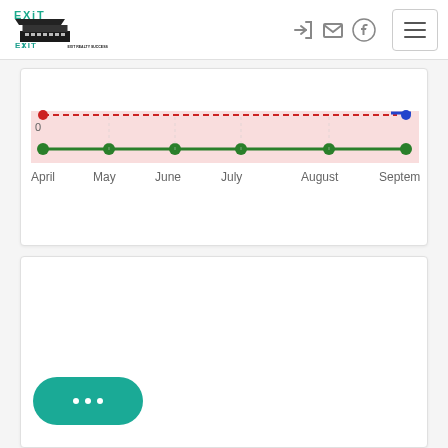[Figure (logo): EXIT Realty Success logo with teal EXIT text and building graphic]
[Figure (screenshot): Navigation icons: login arrow, envelope, Facebook circle button, and hamburger menu button]
[Figure (line-chart): Line chart showing data from April through September]
[Figure (screenshot): Empty white content card section]
[Figure (screenshot): Teal chat bubble button with speech dots icon]